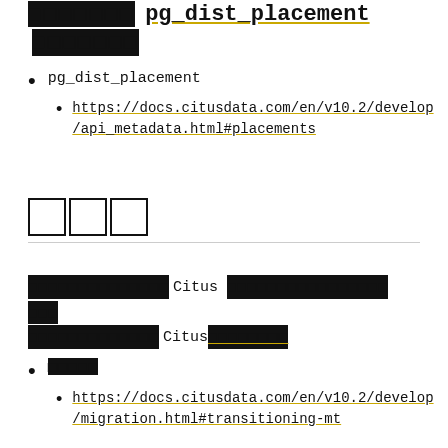□□□□□□□ pg_dist_placement □□□□□□□
pg_dist_placement
https://docs.citusdata.com/en/v10.2/develop/api_metadata.html#placements
□□□
□□□□□□□□□□□□□□ Citus □□□□□□□□□□□□□□□□ □□□ □□□□□□□□□□□□□ Citus□□□□□□□□□
□□□□□
https://docs.citusdata.com/en/v10.2/develop/migration.html#transitioning-mt